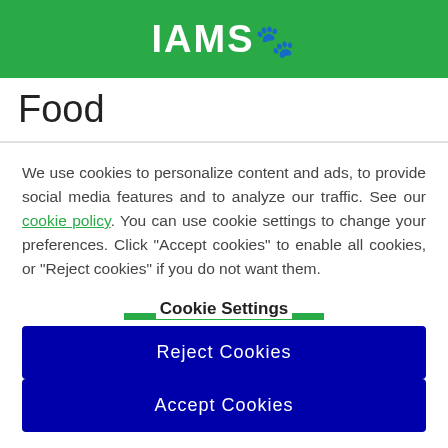[Figure (logo): IAMS logo with paw print dots on green background]
Food
We use cookies to personalize content and ads, to provide social media features and to analyze our traffic. See our cookie policy. You can use cookie settings to change your preferences. Click "Accept cookies" to enable all cookies, or "Reject cookies" if you do not want them.
Cookie Settings
Reject Cookies
Accept Cookies